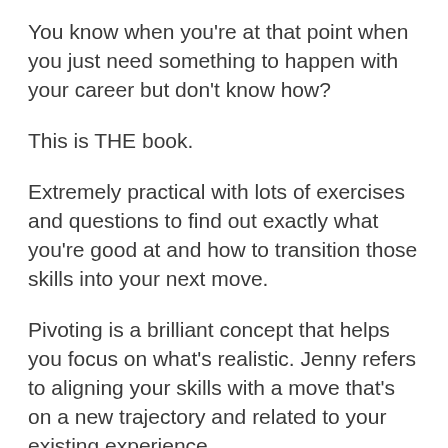You know when you're at that point when you just need something to happen with your career but don't know how?
This is THE book.
Extremely practical with lots of exercises and questions to find out exactly what you're good at and how to transition those skills into your next move.
Pivoting is a brilliant concept that helps you focus on what's realistic. Jenny refers to aligning your skills with a move that's on a new trajectory and related to your existing experience.